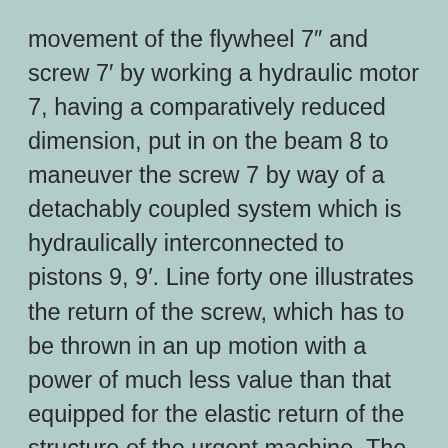movement of the flywheel 7″ and screw 7′ by working a hydraulic motor 7, having a comparatively reduced dimension, put in on the beam 8 to maneuver the screw 7 by way of a detachably coupled system which is hydraulically interconnected to pistons 9, 9′. Line forty one illustrates the return of the screw, which has to be thrown in an up motion with a power of much less value than that equipped for the elastic return of the structure of the urgent machine. The strain exerted by the screw 7′ on the fabric may be predetermined in a precise manner, with the